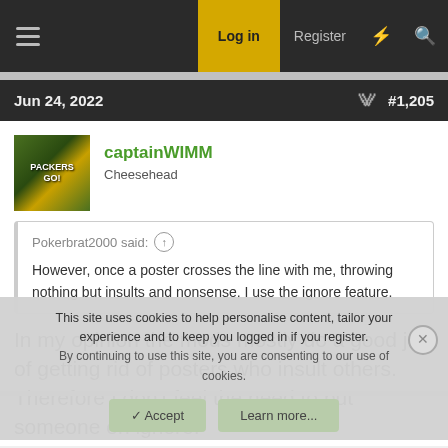Log in  Register
Jun 24, 2022  #1,205
captainWIMM
Cheesehead
Pokerbrat2000 said: However, once a poster crosses the line with me, throwing nothing but insults and nonsense, I use the ignore feature.
In my opinion the mods mostly do a good job of getting rid of posters who insult others. Therefore I don't feel the need to put someone on ignore.
This site uses cookies to help personalise content, tailor your experience and to keep you logged in if you register.
By continuing to use this site, you are consenting to our use of cookies.